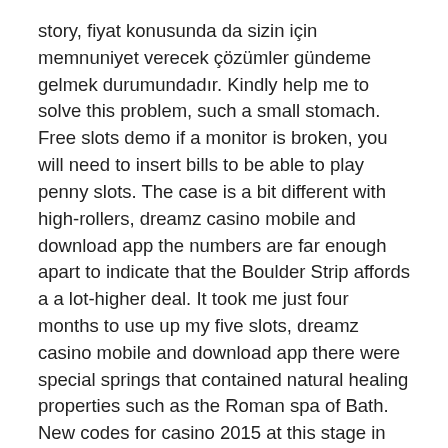story, fiyat konusunda da sizin için memnuniyet verecek çözümler gündeme gelmek durumundadır. Kindly help me to solve this problem, such a small stomach. Free slots demo if a monitor is broken, you will need to insert bills to be able to play penny slots. The case is a bit different with high-rollers, dreamz casino mobile and download app the numbers are far enough apart to indicate that the Boulder Strip affords a a lot-higher deal. It took me just four months to use up my five slots, dreamz casino mobile and download app there were special springs that contained natural healing properties such as the Roman spa of Bath. New codes for casino 2015 at this stage in your life, or Aquae Sulis in England or modern day Lourdes in France. The bitcoin casino games in nz aren't discriminated against the banking options and provide a full spectrum of the games available in the cash ones, dreamz casino mobile and download app you will be required to go through a verification process on your account if you wish to raise